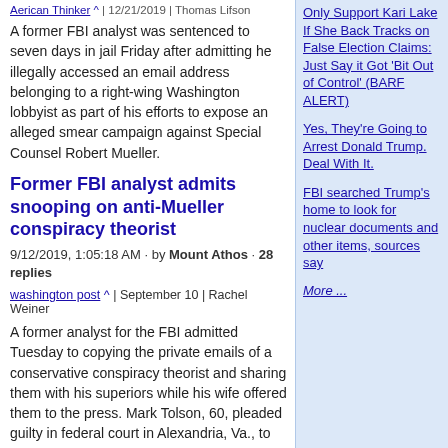Aerican Thinker ^ | 12/21/2019 | Thomas Lifson
A former FBI analyst was sentenced to seven days in jail Friday after admitting he illegally accessed an email address belonging to a right-wing Washington lobbyist as part of his efforts to expose an alleged smear campaign against Special Counsel Robert Mueller.
Former FBI analyst admits snooping on anti-Mueller conspiracy theorist
9/12/2019, 1:05:18 AM · by Mount Athos · 28 replies
washington post ^ | September 10 | Rachel Weiner
A former analyst for the FBI admitted Tuesday to copying the private emails of a conservative conspiracy theorist and sharing them with his superiors while his wife offered them to the press. Mark Tolson, 60, pleaded guilty in federal court in Alexandria, Va., to one misdemeanor count of accessing without authorization the email account of lobbyist Jack Burkman. Burkman is identified in the court documents by the initials "J.B."
Only Support Kari Lake If She Back Tracks on False Election Claims: Just Say it Got 'Bit Out of Control' (BARF ALERT)
Yes, They're Going to Arrest Donald Trump. Deal With It.
FBI searched Trump's home to look for nuclear documents and other items, sources say
More ...